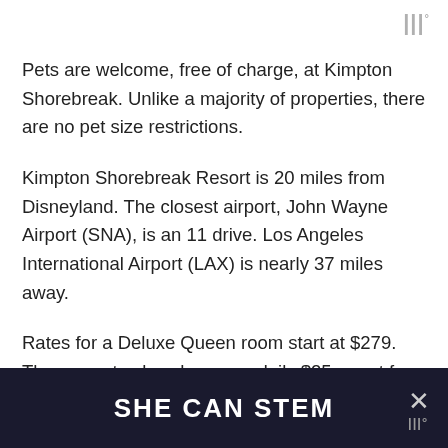Pets are welcome, free of charge, at Kimpton Shorebreak. Unlike a majority of properties, there are no pet size restrictions.
Kimpton Shorebreak Resort is 20 miles from Disneyland. The closest airport, John Wayne Airport (SNA), is an 11 drive. Los Angeles International Airport (LAX) is nearly 37 miles away.
Rates for a Deluxe Queen room start at $279. The property also charges a daily $25 resort fee that includes beach enu...
SHE CAN STEM